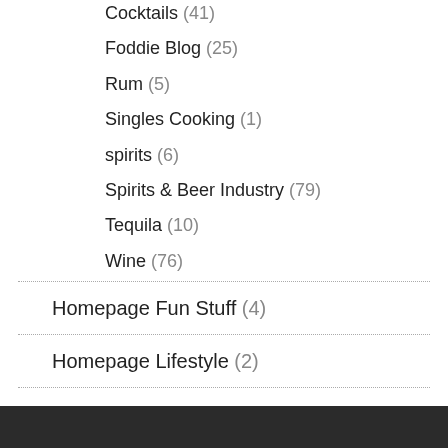Cocktails (41)
Foddie Blog (25)
Rum (5)
Singles Cooking (1)
spirits (6)
Spirits & Beer Industry (79)
Tequila (10)
Wine (76)
Homepage Fun Stuff (4)
Homepage Lifestyle (2)
Men's Stuff (4)
Virtual Happy Hour (8)